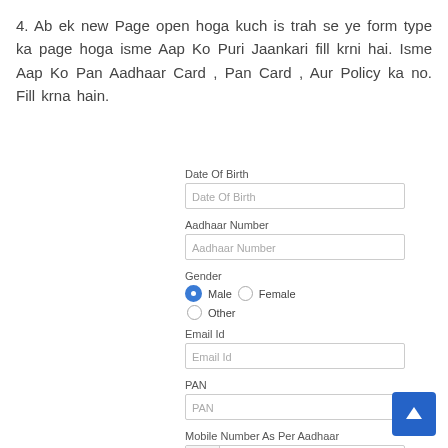4. Ab ek new Page open hoga kuch is trah se ye form type ka page hoga isme Aap Ko Puri Jaankari fill krni hai. Isme Aap Ko Pan Aadhaar Card , Pan Card , Aur Policy ka no. Fill krna hain.
[Figure (screenshot): A web form with fields: Date Of Birth, Aadhaar Number, Gender (Male selected, Female, Other), Email Id, PAN, Mobile Number As Per Aadhaar (+91 prefix), and Policy Number label visible at bottom.]